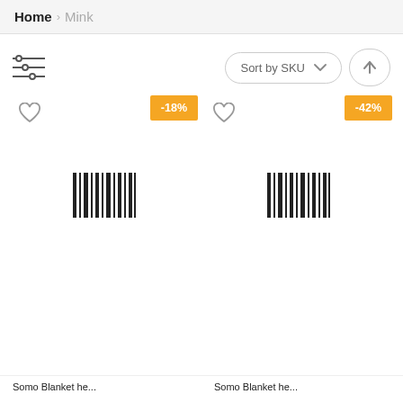Home > Mink
[Figure (screenshot): E-commerce product listing page showing filter/sort toolbar with 'Sort by SKU' dropdown and up-arrow button, two product cards each with heart wishlist icon and discount badges (-18% and -42%), barcode placeholder images, and partial product names at bottom.]